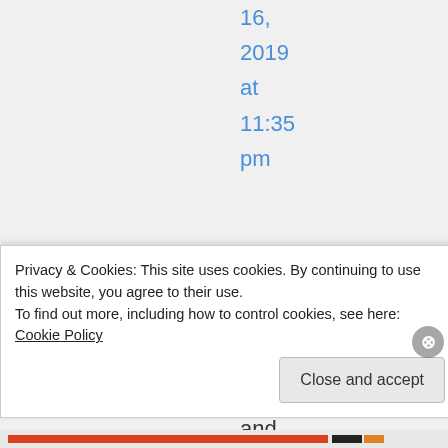16,
2019
at
11:35
pm
I
belive
read
Bible
and
belive
Privacy & Cookies: This site uses cookies. By continuing to use this website, you agree to their use.
To find out more, including how to control cookies, see here: Cookie Policy
Close and accept